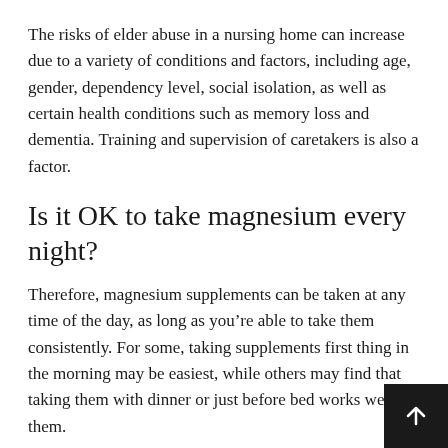The risks of elder abuse in a nursing home can increase due to a variety of conditions and factors, including age, gender, dependency level, social isolation, as well as certain health conditions such as memory loss and dementia. Training and supervision of caretakers is also a factor.
Is it OK to take magnesium every night?
Therefore, magnesium supplements can be taken at any time of the day, as long as you’re able to take them consistently. For some, taking supplements first thing in the morning may be easiest, while others may find that taking them with dinner or just before bed works well for them.
What magnesium helps you sleep?